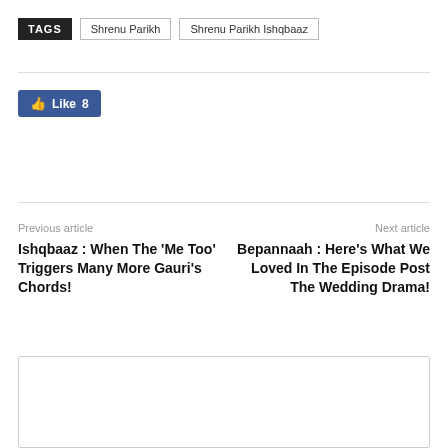TAGS  Shrenu Parikh  Shrenu Parikh Ishqbaaz
[Figure (other): Facebook Like button showing count of 8]
Previous article
Next article
Ishqbaaz : When The 'Me Too' Triggers Many More Gauri's Chords!
Bepannaah : Here's What We Loved In The Episode Post The Wedding Drama!